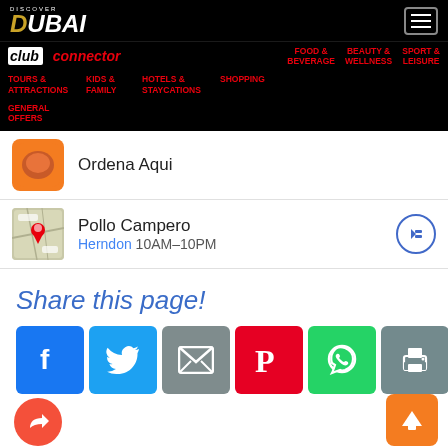[Figure (screenshot): Discover Dubai website navigation bar with black background, Dubai logo, hamburger menu, Club Connector logo, and navigation links including FOOD & BEVERAGE, BEAUTY & WELLNESS, SPORT & LEISURE, TOURS & ATTRACTIONS, KIDS & FAMILY, HOTELS & STAYCATIONS, SHOPPING, GENERAL OFFERS]
Ordena Aqui
Pollo Campero Herndon 10AM–10PM
Share this page!
[Figure (infographic): Social sharing icons: Facebook (blue), Twitter (light blue), Email (grey), Pinterest (red), WhatsApp (green), Print (grey), Gmail (red/white), More (salmon/plus)]